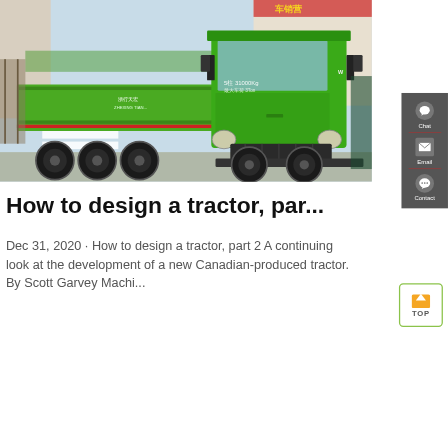[Figure (photo): A large green dump truck / heavy-duty transport vehicle parked in what appears to be a Chinese vehicle sales lot. The truck has multiple axles, a green cab and cargo bed, with Chinese text visible on the body. Red and green store signage visible in the background.]
How to design a tractor, par...
Dec 31, 2020 · How to design a tractor, part 2 A continuing look at the development of a new Canadian-produced tractor. By Scott Garvey Machi...